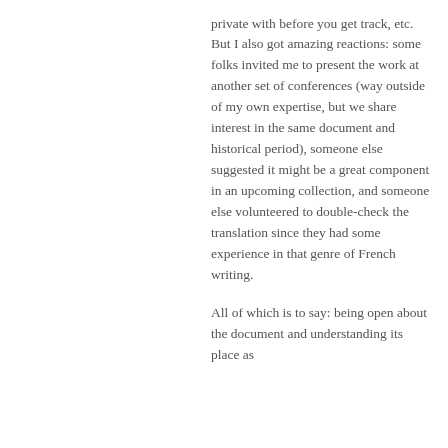private with before you get track, etc. But I also got amazing reactions: some folks invited me to present the work at another set of conferences (way outside of my own expertise, but we share interest in the same document and historical period), someone else suggested it might be a great component in an upcoming collection, and someone else volunteered to double-check the translation since they had some experience in that genre of French writing.
All of which is to say: being open about the document and understanding its place as